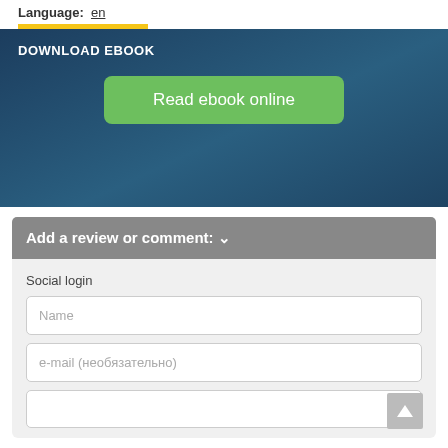Language:  en
DOWNLOAD EBOOK
Read ebook online
Add a review or comment: ∨
Social login
Name
e-mail (необязательно)